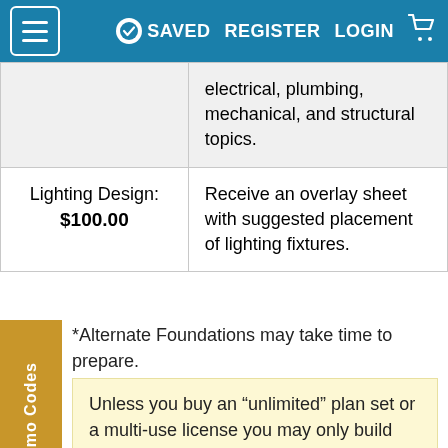SAVED  REGISTER  LOGIN
|  | electrical, plumbing, mechanical, and structural topics. |
| Lighting Design: $100.00 | Receive an overlay sheet with suggested placement of lighting fixtures. |
*Alternate Foundations may take time to prepare. Options with a fee may take time to prepare. Please call to confirm.
Unless you buy an “unlimited” plan set or a multi-use license you may only build one home from a set of plans. Please call to verify if you intend to